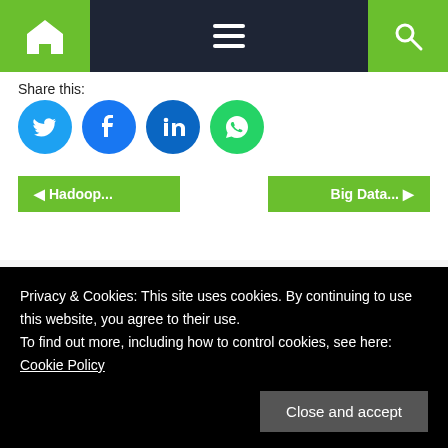Navigation bar with home, menu, and search icons
Share this:
[Figure (other): Social share icons: Twitter (blue), Facebook (blue), LinkedIn (dark blue), WhatsApp (green) circular buttons]
◄ Hadoop...
Big Data... ►
Leave a Reply
Your email address will not be published. Required fields
Privacy & Cookies: This site uses cookies. By continuing to use this website, you agree to their use.
To find out more, including how to control cookies, see here:
Cookie Policy
Close and accept